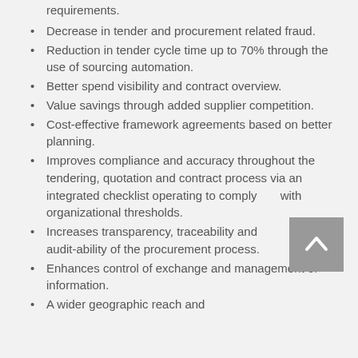requirements.
Decrease in tender and procurement related fraud.
Reduction in tender cycle time up to 70% through the use of sourcing automation.
Better spend visibility and contract overview.
Value savings through added supplier competition.
Cost-effective framework agreements based on better planning.
Improves compliance and accuracy throughout the tendering, quotation and contract process via an integrated checklist operating to comply with organizational thresholds.
Increases transparency, traceability and audit-ability of the procurement process.
Enhances control of exchange and management of information.
A wider geographic reach and